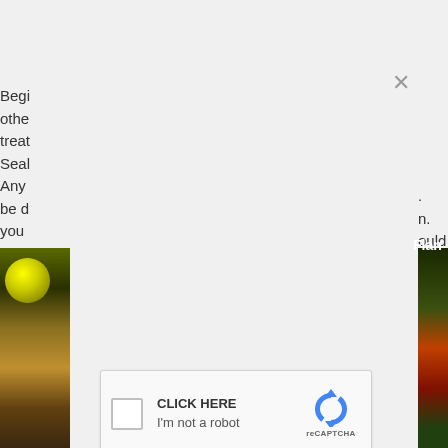Begi
othe
treat
Seal
Any
be d
you
the i
.
n.
ould
hat
e of
Flan
[Figure (screenshot): reCAPTCHA widget with checkbox, 'CLICK HERE' label, 'I'm not a robot' text, reCAPTCHA logo, and Privacy - Terms footer]
[Figure (photo): Partial view of music album covers on left and right edges of the page, partially hidden behind modal dialog]